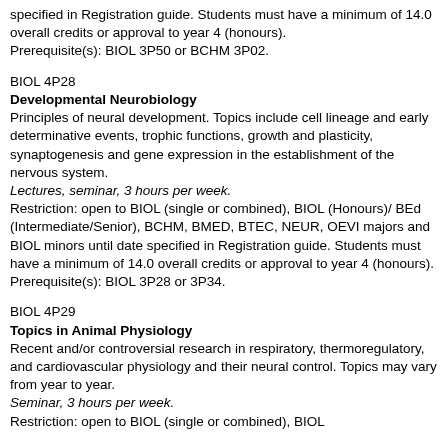specified in Registration guide. Students must have a minimum of 14.0 overall credits or approval to year 4 (honours).
Prerequisite(s): BIOL 3P50 or BCHM 3P02.
BIOL 4P28
Developmental Neurobiology
Principles of neural development. Topics include cell lineage and early determinative events, trophic functions, growth and plasticity, synaptogenesis and gene expression in the establishment of the nervous system.
Lectures, seminar, 3 hours per week.
Restriction: open to BIOL (single or combined), BIOL (Honours)/ BEd (Intermediate/Senior), BCHM, BMED, BTEC, NEUR, OEVI majors and BIOL minors until date specified in Registration guide. Students must have a minimum of 14.0 overall credits or approval to year 4 (honours).
Prerequisite(s): BIOL 3P28 or 3P34.
BIOL 4P29
Topics in Animal Physiology
Recent and/or controversial research in respiratory, thermoregulatory, and cardiovascular physiology and their neural control. Topics may vary from year to year.
Seminar, 3 hours per week.
Restriction: open to BIOL (single or combined), BIOL